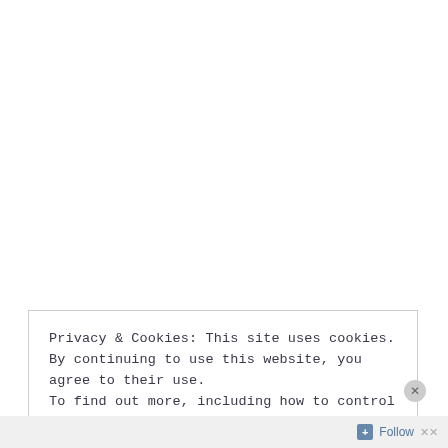Privacy & Cookies: This site uses cookies. By continuing to use this website, you agree to their use.
To find out more, including how to control cookies, see here: Cookie Policy
Close and accept
Follow